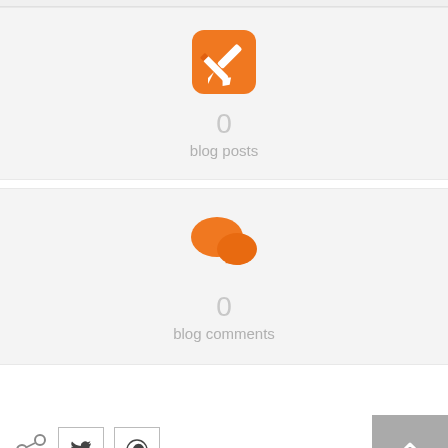[Figure (infographic): Orange pencil/edit icon in a rounded orange square, followed by the number 0 and label 'blog posts']
0
blog posts
[Figure (infographic): Two orange speech bubble / comments icons, followed by the number 0 and label 'blog comments']
0
blog comments
[Figure (infographic): Share icon, Twitter bird button, WhatsApp button, up arrow button (grey), mail button (grey), English language selector with Canadian flag]
English